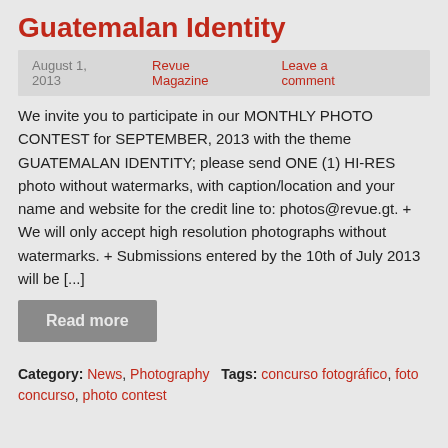Guatemalan Identity
August 1, 2013   Revue Magazine   Leave a comment
We invite you to participate in our MONTHLY PHOTO CONTEST for SEPTEMBER, 2013 with the theme GUATEMALAN IDENTITY; please send ONE (1) HI-RES photo without watermarks, with caption/location and your name and website for the credit line to: photos@revue.gt. + We will only accept high resolution photographs without watermarks. + Submissions entered by the 10th of July 2013 will be [...]
Read more
Category: News, Photography   Tags: concurso fotográfico, foto concurso, photo contest